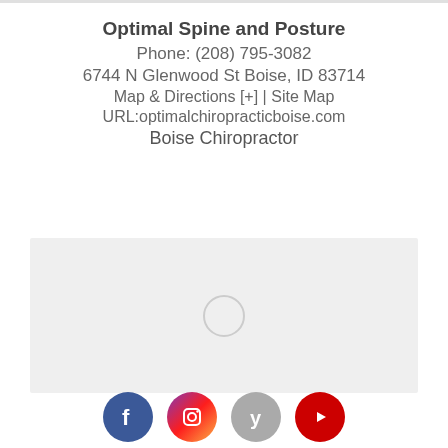Optimal Spine and Posture
Phone: (208) 795-3082
6744 N Glenwood St Boise, ID 83714
Map & Directions [+] | Site Map
URL:optimalchiropracticboise.com
Boise Chiropractor
[Figure (other): Loading placeholder for an embedded map showing the business location]
[Figure (other): Social media icons row: Facebook, Instagram, Yelp, YouTube]